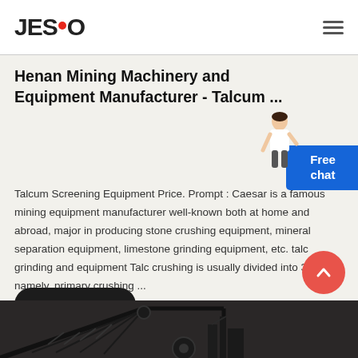JESCO
Henan Mining Machinery and Equipment Manufacturer - Talcum ...
Talcum Screening Equipment Price. Prompt : Caesar is a famous mining equipment manufacturer well-known both at home and abroad, major in producing stone crushing equipment, mineral separation equipment, limestone grinding equipment, etc. talc grinding and equipment Talc crushing is usually divided into 3 stages, namely, primary crushing ...
READ MORE →
[Figure (photo): Dark industrial mining machinery at the bottom of the page, partially visible]